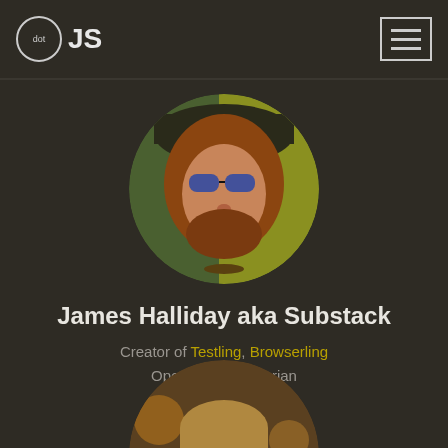dotJS
[Figure (photo): Circular profile photo of James Halliday (Substack) — person with long reddish hair, sunglasses, hat, colorful background]
James Halliday aka Substack
Creator of Testling, Browserling
Open Source librarian
[Figure (photo): Circular profile photo of a young smiling man with short blond/brown hair at a social event]